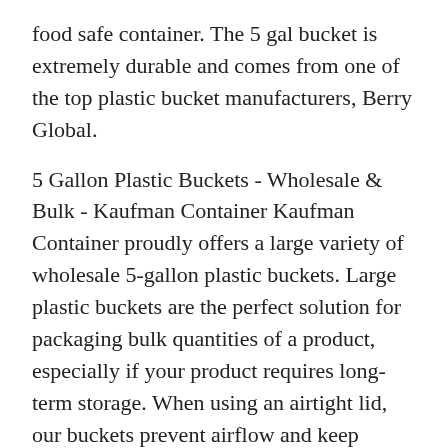food safe container. The 5 gal bucket is extremely durable and comes from one of the top plastic bucket manufacturers, Berry Global.
5 Gallon Plastic Buckets - Wholesale & Bulk - Kaufman Container Kaufman Container proudly offers a large variety of wholesale 5-gallon plastic buckets. Large plastic buckets are the perfect solution for packaging bulk quantities of a product, especially if your product requires long-term storage. When using an airtight lid, our buckets prevent airflow and keep contents protected without losing freshness or.
5 Gallon Buckets | Wholesale & Bulk | Berlin Packaging Buckets. Producing bulk quantities of product requires large containers that can handle potential long-term storage. The use of 5-gallon buckets made of plastic or steel is a practical solution for packaging large quantities